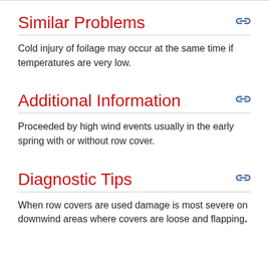Similar Problems
Cold injury of foilage may occur at the same time if temperatures are very low.
Additional Information
Proceeded by high wind events usually in the early spring with or without row cover.
Diagnostic Tips
When row covers are used damage is most severe on downwind areas where covers are loose and flapping.